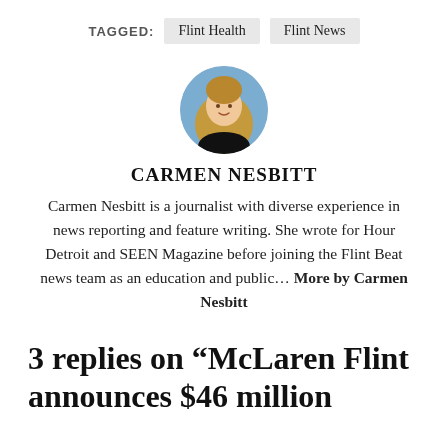TAGGED: Flint Health  Flint News
[Figure (photo): Circular profile photo of Carmen Nesbitt, a woman with long dark blonde hair, wearing a black top, smiling, with a blue background.]
CARMEN NESBITT
Carmen Nesbitt is a journalist with diverse experience in news reporting and feature writing. She wrote for Hour Detroit and SEEN Magazine before joining the Flint Beat news team as an education and public... More by Carmen Nesbitt
3 replies on “McLaren Flint announces $46 million